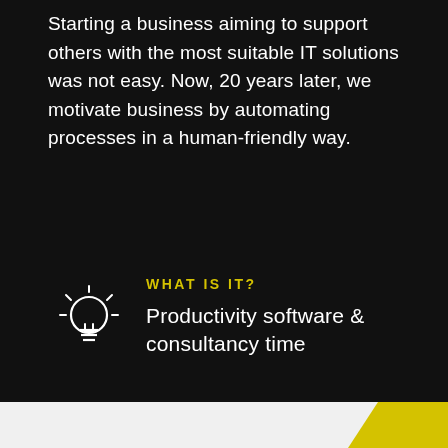Starting a business aiming to support others with the most suitable IT solutions was not easy. Now, 20 years later, we motivate business by automating processes in a human-friendly way.
WHAT IS IT?
Productivity software & consultancy time